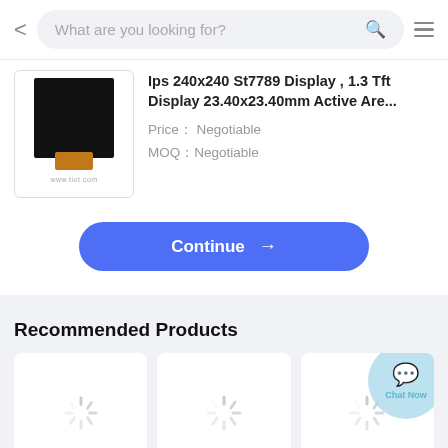[Figure (screenshot): Mobile app navigation bar with back arrow, search field 'What are you looking for?', search icon, and hamburger menu]
[Figure (photo): Small square LCD display module with orange ribbon connector shown on white background]
Ips 240x240 St7789 Display , 1.3 Tft Display 23.40x23.40mm Active Are...
Priceï¼ Negotiable
MOQ：Negotiable
[Figure (screenshot): Blue rounded 'Continue →' button]
Recommended Products
[Figure (screenshot): Three loading spinner placeholder cards for recommended products with a 'Chat Now' overlay button on the top right]
[Figure (screenshot): Chat Now circular button overlay with chat icon]